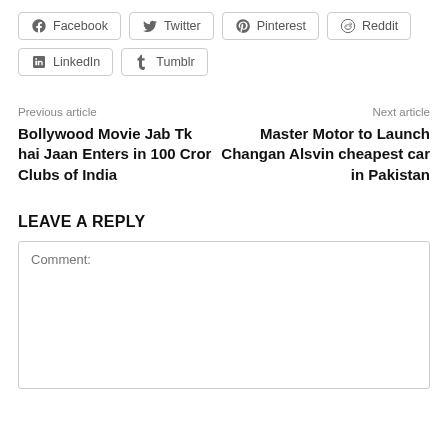[Figure (other): Social share buttons row 1: Facebook, Twitter, Pinterest, Reddit]
[Figure (other): Social share buttons row 2: LinkedIn, Tumblr]
Previous article
Bollywood Movie Jab Tk hai Jaan Enters in 100 Cror Clubs of India
Next article
Master Motor to Launch Changan Alsvin cheapest car in Pakistan
LEAVE A REPLY
Comment: